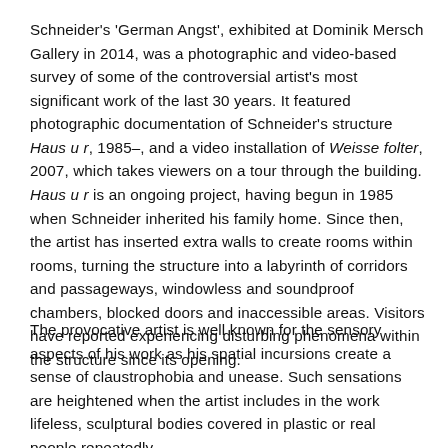Schneider's 'German Angst', exhibited at Dominik Mersch Gallery in 2014, was a photographic and video-based survey of some of the controversial artist's most significant work of the last 30 years. It featured photographic documentation of Schneider's structure Haus u r, 1985–, and a video installation of Weisse folter, 2007, which takes viewers on a tour through the building. Haus u r is an ongoing project, having begun in 1985 when Schneider inherited his family home. Since then, the artist has inserted extra walls to create rooms within rooms, turning the structure into a labyrinth of corridors and passageways, windowless and soundproof chambers, blocked doors and inaccessible areas. Visitors have reported experiencing disturbing phenomena within the structure since its opening.
The provocative artist is well known for the sensory aspects of his work as his spatial incursions create a sense of claustrophobia and unease. Such sensations are heightened when the artist includes in the work lifeless, sculptural bodies covered in plastic or real people repeatedly